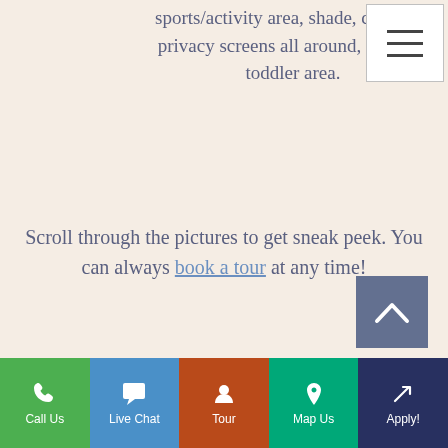sports/activity area, shade, complete privacy screens all around, separate toddler area.
[Figure (screenshot): Hamburger menu icon overlay (three horizontal lines) on white background with border, positioned at top right]
Scroll through the pictures to get sneak peek. You can always book a tour at any time!
[Figure (other): Scroll-to-top button: dark blue-grey square with upward chevron arrow icon]
Call Us | Live Chat | Tour | Map Us | Apply!